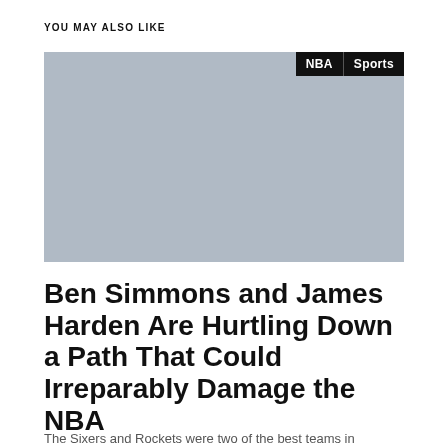YOU MAY ALSO LIKE
[Figure (photo): Gray placeholder image for an article thumbnail with NBA and Sports category tags in the upper right corner]
Ben Simmons and James Harden Are Hurtling Down a Path That Could Irreparably Damage the NBA
The Sixers and Rockets were two of the best teams in